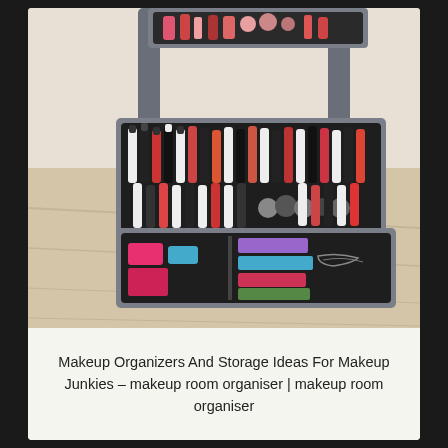[Figure (photo): A grey three-tier rolling utility cart (similar to IKEA RÅSKOG) filled with makeup and nail polish bottles on the upper two trays, and makeup palettes and accessories on the lower tray, sitting on a light wood floor.]
Makeup Organizers And Storage Ideas For Makeup Junkies – makeup room organiser | makeup room organiser